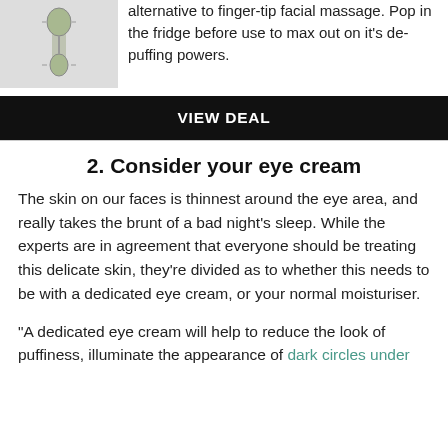[Figure (photo): A jade face roller product image on a light grey background]
alternative to finger-tip facial massage. Pop in the fridge before use to max out on it's de-puffing powers.
VIEW DEAL
2. Consider your eye cream
The skin on our faces is thinnest around the eye area, and really takes the brunt of a bad night's sleep. While the experts are in agreement that everyone should be treating this delicate skin, they're divided as to whether this needs to be with a dedicated eye cream, or your normal moisturiser.
“A dedicated eye cream will help to reduce the look of puffiness, illuminate the appearance of dark circles under